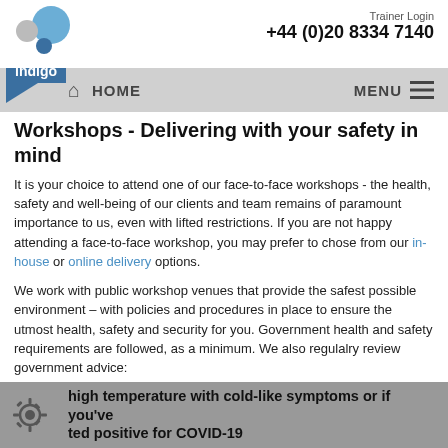Trainer Login
+44 (0)20 8334 7140
[Figure (logo): Indigo company logo with blue and grey bubbles and blue box with text 'indigo']
Workshops - Delivering with your safety in mind
It is your choice to attend one of our face-to-face workshops - the health, safety and well-being of our clients and team remains of paramount importance to us, even with lifted restrictions. If you are not happy attending a face-to-face workshop, you may prefer to chose from our in-house or online delivery options.
We work with public workshop venues that provide the safest possible environment – with policies and procedures in place to ensure the utmost health, safety and security for you. Government health and safety requirements are followed, as a minimum. We also regulalry review government advice:
https://www.gov.uk/coronavirus
high temperature with cold-like symptoms or if you've tested positive for COVID-19